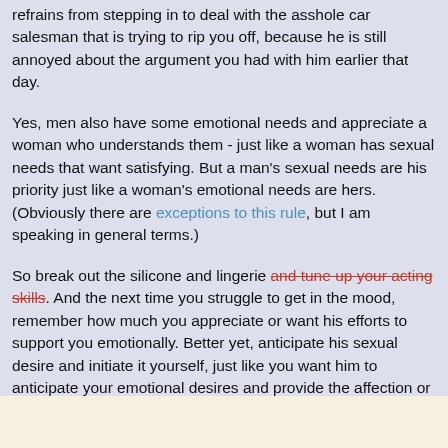refrains from stepping in to deal with the asshole car salesman that is trying to rip you off, because he is still annoyed about the argument you had with him earlier that day.
Yes, men also have some emotional needs and appreciate a woman who understands them - just like a woman has sexual needs that want satisfying. But a man's sexual needs are his priority just like a woman's emotional needs are hers. (Obviously there are exceptions to this rule, but I am speaking in general terms.)
So break out the silicone and lingerie and tune up your acting skills. And the next time you struggle to get in the mood, remember how much you appreciate or want his efforts to support you emotionally. Better yet, anticipate his sexual desire and initiate it yourself, just like you want him to anticipate your emotional desires and provide the affection or companionship you want, without having to ask for it.